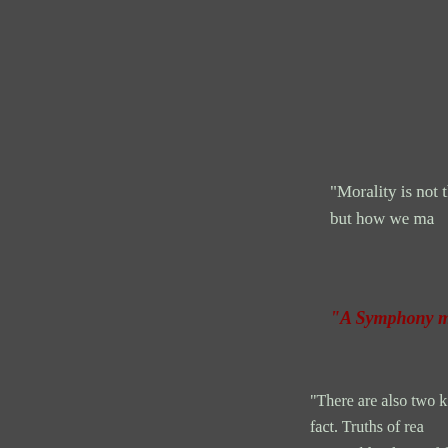"Morality is not the d... but how we ma...
"A Symphony must b...
"There are also two k... fact. Truths of rea... impossible; those of fa...